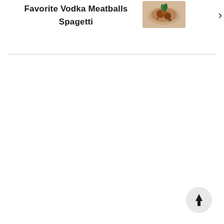Favorite Vodka Meatballs Spagetti
[Figure (photo): Thumbnail image of meatballs dish with herbs]
[Figure (other): Scroll to top button with upward arrow]